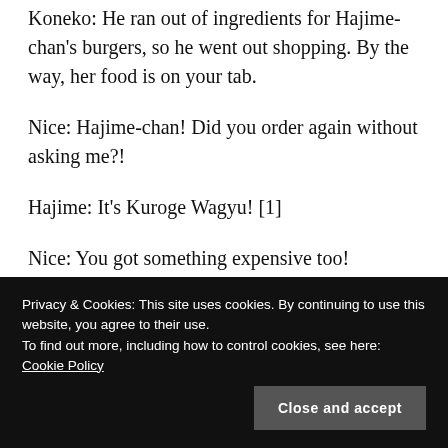Koneko: He ran out of ingredients for Hajime-chan's burgers, so he went out shopping. By the way, her food is on your tab.
Nice: Hajime-chan! Did you order again without asking me?!
Hajime: It’s Kuroge Wagyu! [1]
Nice: You got something expensive too!
Birthday: You’re free time or your body so well, you bad for your digestion.
Privacy & Cookies: This site uses cookies. By continuing to use this website, you agree to their use. To find out more, including how to control cookies, see here: Cookie Policy
Close and accept